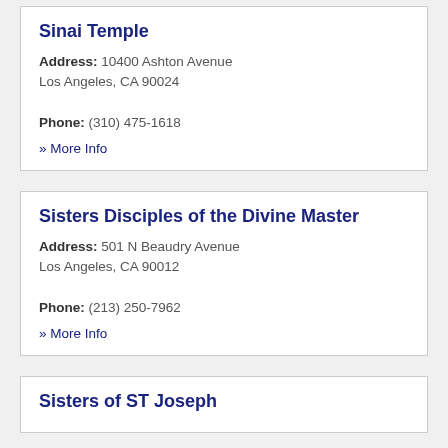Sinai Temple
Address: 10400 Ashton Avenue Los Angeles, CA 90024
Phone: (310) 475-1618
» More Info
Sisters Disciples of the Divine Master
Address: 501 N Beaudry Avenue Los Angeles, CA 90012
Phone: (213) 250-7962
» More Info
Sisters of ST Joseph